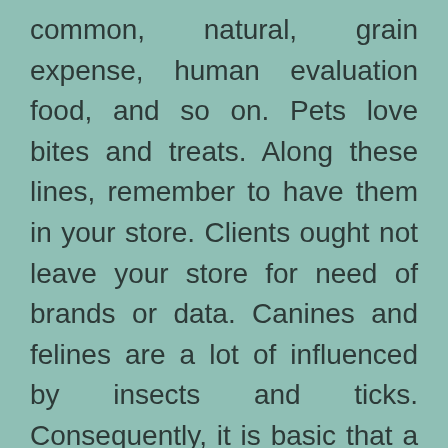common, natural, grain expense, human evaluation food, and so on. Pets love bites and treats. Along these lines, remember to have them in your store. Clients ought not leave your store for need of brands or data. Canines and felines are a lot of influenced by insects and ticks. Consequently, it is basic that a decent pet store should keep numerous brands of bug executioners. Practically all the pet proprietors would have insect executioners at home anytime of time as bugs suck their friends and family's blood. Other than these, a wide scope of Grooming Products, viz.,